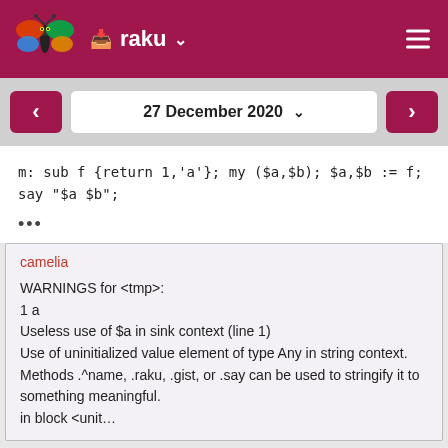raku
27 December 2020
m: sub f {return 1,'a'}; my ($a,$b); $a,$b := f; say "$a $b";
...
camelia

WARNINGS for <tmp>:
1 a
Useless use of $a in sink context (line 1)
Use of uninitialized value element of type Any in string context.
Methods .^name, .raku, .gist, or .say can be used to stringify it to something meaningful.
in block <unit...